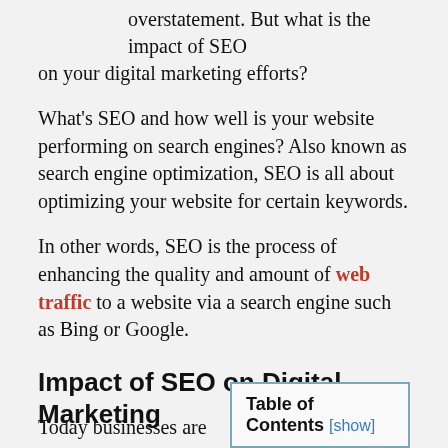overstatement. But what is the impact of SEO on your digital marketing efforts?
What's SEO and how well is your website performing on search engines? Also known as search engine optimization, SEO is all about optimizing your website for certain keywords.
In other words, SEO is the process of enhancing the quality and amount of web traffic to a website via a search engine such as Bing or Google.
Impact of SEO on Digital Marketing
Today businesses are
| Table of Contents [show] |
| --- |